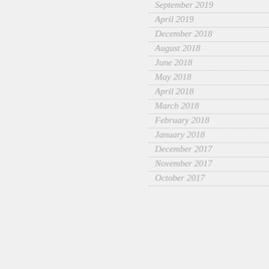September 2019
April 2019
December 2018
August 2018
June 2018
May 2018
April 2018
March 2018
February 2018
January 2018
December 2017
November 2017
October 2017